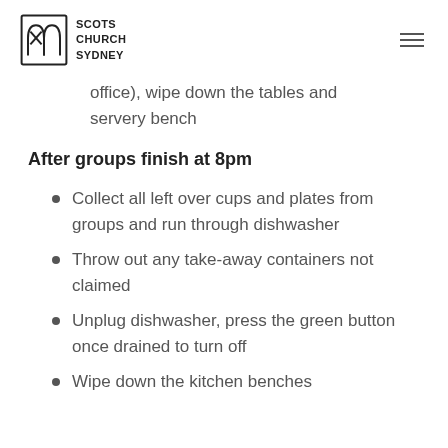SCOTS CHURCH SYDNEY
office), wipe down the tables and servery bench
After groups finish at 8pm
Collect all left over cups and plates from groups and run through dishwasher
Throw out any take-away containers not claimed
Unplug dishwasher, press the green button once drained to turn off
Wipe down the kitchen benches